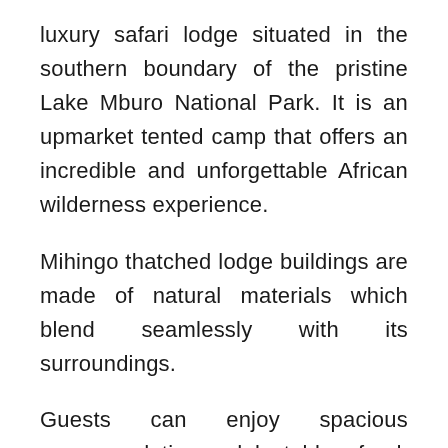luxury safari lodge situated in the southern boundary of the pristine Lake Mburo National Park. It is an upmarket tented camp that offers an incredible and unforgettable African wilderness experience.
Mihingo thatched lodge buildings are made of natural materials which blend seamlessly with its surroundings.
Guests can enjoy spacious accommodation, delectable food, rejuvenating wellness treatments, sparkling swimming pool and